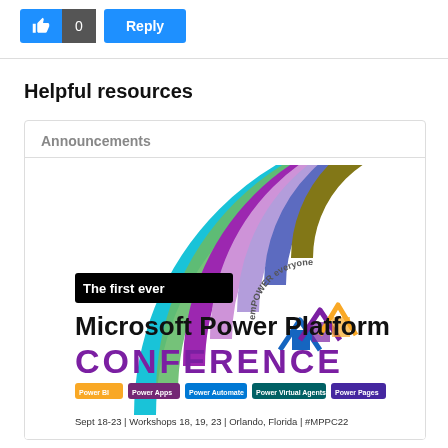[Figure (screenshot): Like button with count 0 and Reply button in blue]
Helpful resources
Announcements
[Figure (illustration): Microsoft Power Platform Conference banner: 'The first ever Microsoft Power Platform CONFERENCE emPOWER everyone' with colorful arc design, Power BI, Power Apps, Power Automate, Power Virtual Agents, Power Pages tags, Sept 18-23 | Workshops 18, 19, 23 | Orlando, Florida | #MPPC22]